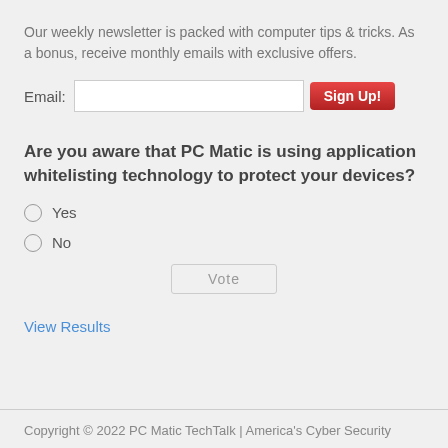Our weekly newsletter is packed with computer tips & tricks. As a bonus, receive monthly emails with exclusive offers.
Email: [input field] Sign Up!
Are you aware that PC Matic is using application whitelisting technology to protect your devices?
Yes
No
Vote
View Results
Copyright © 2022 PC Matic TechTalk | America's Cyber Security